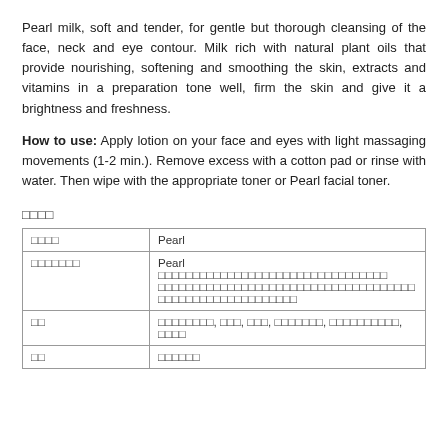Pearl milk, soft and tender, for gentle but thorough cleansing of the face, neck and eye contour. Milk rich with natural plant oils that provide nourishing, softening and smoothing the skin, extracts and vitamins in a preparation tone well, firm the skin and give it a brightness and freshness.
How to use: Apply lotion on your face and eyes with light massaging movements (1-2 min.). Remove excess with a cotton pad or rinse with water. Then wipe with the appropriate toner or Pearl facial toner.
□□□□
| □□□□ |  |
| --- | --- |
| □□□□ | Pearl |
| □□□□□□□ | Pearl □□□□□□□□□□□□□□□□□□□□□□□□□□□□□□□ □□□□□□□□□□□□□□□□□□□□□□□□□□□□□□□□□□□□□□□□□□□□□□□□□□□□□□□ |
| □□ | □□□□□□□□, □□□, □□□, □□□□□□□, □□□□□□□□□□, □□□□ |
| □□ | □□□□□□ |